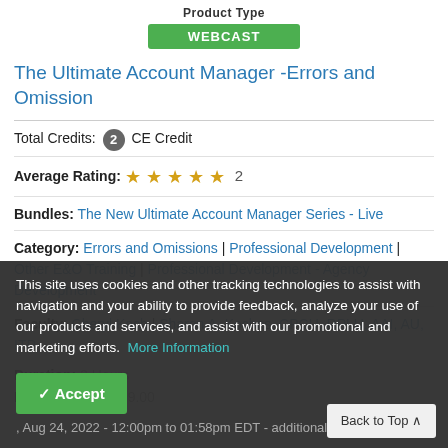Product Type
WEBCAST
The Ultimate Account Manager -Errors and Omission
Total Credits: 2 CE Credit
Average Rating: ★★★★★ 2
Bundles: The New Ultimate Account Manager Series - Live
Category: Errors and Omissions | Professional Development | Other E&O Training | Professional Development - Agency Development
Faculty: Cheryl Koch | Sharon A, Koches, CPCU, RPLU, AAI, AU, ITP
Duration: 2 Hours
Price: $49.00 - $69.00
This site uses cookies and other tracking technologies to assist with navigation and your ability to provide feedback, analyze your use of our products and services, and assist with our promotional and marketing efforts. More Information
Accept
Back to Top